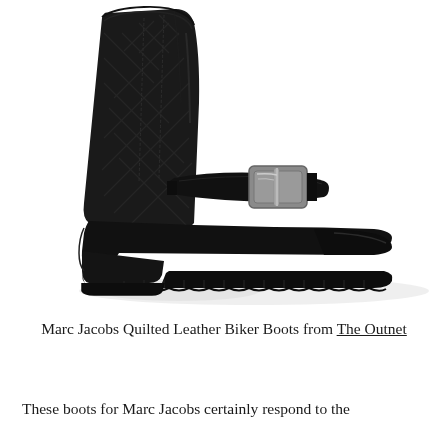[Figure (photo): Black Marc Jacobs quilted leather biker boot with silver buckle strap and lug sole, photographed on white background from the side.]
Marc Jacobs Quilted Leather Biker Boots from The Outnet
These boots for Marc Jacobs certainly respond to the